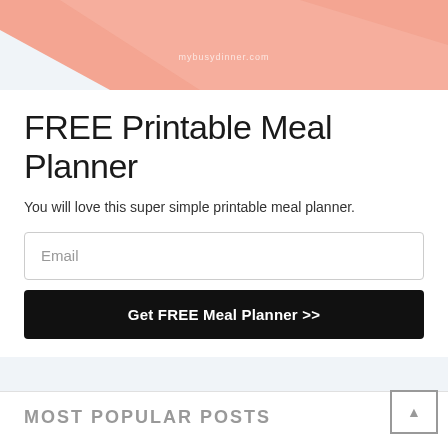[Figure (illustration): Salmon/peach colored diagonal geometric shape decorative header image with watermark text 'mybusydinner.com']
FREE Printable Meal Planner
You will love this super simple printable meal planner.
Email (input field placeholder)
Get FREE Meal Planner >>
MOST POPULAR POSTS